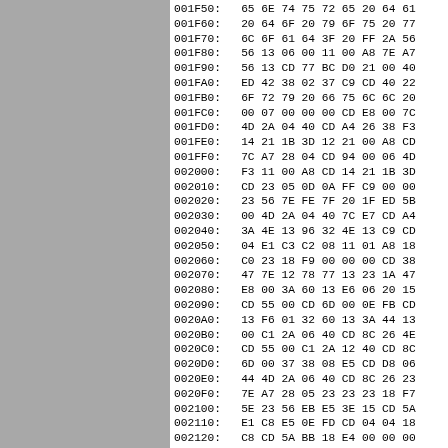[Figure (other): Gray panel on the left side of the page]
001F50:   65 6E 74 75 72 65 20 64 61
001F60:   20 64 6F 20 79 6F 75 20 77
001F70:   6C 6F 61 64 3F 20 FF 2A 56
001F80:   56 13 06 00 11 00 A8 7E A7
001F90:   56 13 CD 77 BC D0 21 00 40
001FA0:   ED 42 38 02 37 C9 CD 40 22
001FB0:   6F 72 79 20 66 75 6C 6C 20
001FC0:   00 07 00 00 00 CD E8 00 7C
001FD0:   4D 2A 04 40 CD A4 26 38 F3
001FE0:   14 21 1B 3D 12 21 00 A8 CD
001FF0:   7C A7 28 04 CD 94 00 06 4D
002000:   F3 11 00 A8 CD 14 21 1B 3D
002010:   CD 23 05 0D 0A FF C9 00 00
002020:   23 56 7E FE 7F 20 1F ED 5B
002030:   00 4D 2A 04 40 7C E7 CD A4
002040:   3A 4E 13 96 32 4E 13 C9 CD
002050:   04 E1 C3 C2 08 11 01 A8 18
002060:   C0 23 18 F9 00 00 00 CD 38
002070:   47 7E 12 78 77 13 23 1A 47
002080:   E8 00 3A 60 13 E6 06 20 15
002090:   CD 55 00 CD 6D 00 0E FB CD
0020A0:   13 F6 01 32 60 13 3A 44 13
0020B0:   00 C1 2A 06 40 CD 8C 26 4E
0020C0:   CD 55 00 C1 2A 12 40 CD 8C
0020D0:   6D 00 37 38 08 E5 CD D8 06
0020E0:   44 4D 2A 06 40 CD 8C 26 23
0020F0:   7E A7 28 05 23 23 23 18 F7
002100:   5E 23 56 EB E5 3E 15 CD 5A
002110:   E1 C8 E5 0E FD CD 04 04 18
002120:   C8 CD 5A BB 18 E4 00 00 00